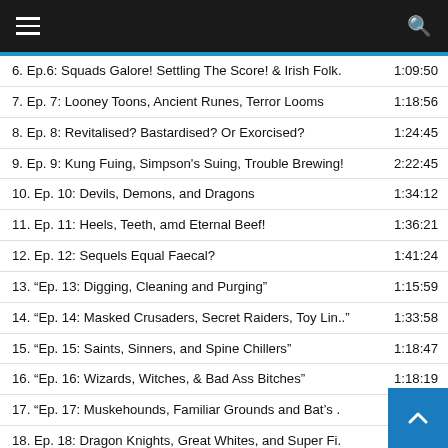Navigation menu and search bar
6. Ep.6: Squads Galore! Settling The Score! & Irish Folk. 1:09:50
7. Ep. 7: Looney Toons, Ancient Runes, Terror Looms 1:18:56
8. Ep. 8: Revitalised? Bastardised? Or Exorcised? 1:24:45
9. Ep. 9: Kung Fuing, Simpson's Suing, Trouble Brewing! 2:22:45
10. Ep. 10: Devils, Demons, and Dragons 1:34:12
11. Ep. 11: Heels, Teeth, amd Eternal Beef! 1:36:21
12. Ep. 12: Sequels Equal Faecal? 1:41:24
13. "Ep. 13: Digging, Cleaning and Purging" 1:15:59
14. "Ep. 14: Masked Crusaders, Secret Raiders, Toy Lin.. 1:33:58
15. "Ep. 15: Saints, Sinners, and Spine Chillers" 1:18:47
16. "Ep. 16: Wizards, Witches, & Bad Ass Bitches" 1:18:19
17. "Ep. 17: Muskehounds, Familiar Grounds and Bat's . 1:36:07
18. Ep. 18: Dragon Knights, Great Whites, and Super Fi. 1:37:11
19. "Ep. 19: Dungeons, Death, and Disneyfication!" 1:43:30
20. Ep. 20: The Catastrophic Covid Catch-up Edition 1:...
21. Ep. 21: Parole, Patrol, and Back in Control? 1:...
22. Ep. 22: Caged, Deranged & Changed 1:32:08
23. "Ep. 23: Escapes, Reshapes, and Desperate Scrapes" 1:29:40